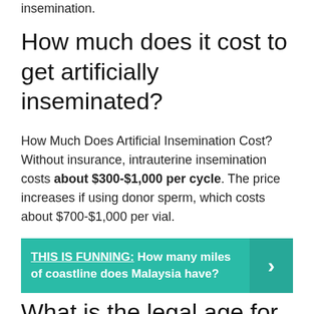insemination.
How much does it cost to get artificially inseminated?
How Much Does Artificial Insemination Cost? Without insurance, intrauterine insemination costs about $300-$1,000 per cycle. The price increases if using donor sperm, which costs about $700-$1,000 per vial.
THIS IS FUNNING: How many miles of coastline does Malaysia have?
What is the legal age for artificial insemination?